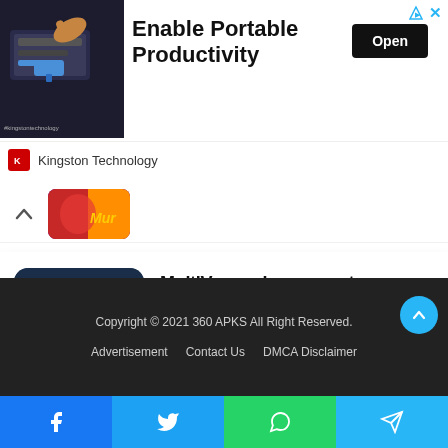[Figure (screenshot): Advertisement banner for Kingston Technology showing Enable Portable Productivity with an Open button]
Enable Portable Productivity
Open
Kingston Technology
[Figure (photo): Partially visible collapsed article card with thumbnail]
[Figure (screenshot): MultiVersus game screenshot showing animated characters on a platform stage]
MultiVersus has a great foundation for a story mode
2 hours ago
Copyright © 2021 360 APKS All Right Reserved.
Advertisement   Contact Us   DMCA Disclaimer